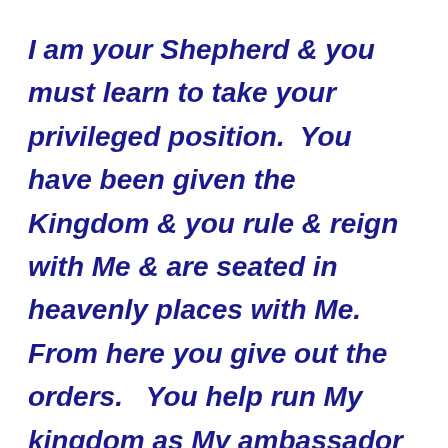I am your Shepherd & you must learn to take your privileged position.  You have been given the Kingdom & you rule & reign with Me & are seated in heavenly places with Me.   From here you give out the orders.   You help run My kingdom as My ambassador & as part of the Royal Family.